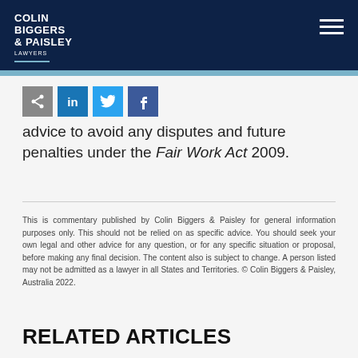COLIN BIGGERS & PAISLEY LAWYERS
[Figure (logo): Colin Biggers & Paisley Lawyers logo in white text on dark navy header with hamburger menu icon]
advice to avoid any disputes and future penalties under the Fair Work Act 2009.
This is commentary published by Colin Biggers & Paisley for general information purposes only. This should not be relied on as specific advice. You should seek your own legal and other advice for any question, or for any specific situation or proposal, before making any final decision. The content also is subject to change. A person listed may not be admitted as a lawyer in all States and Territories. © Colin Biggers & Paisley, Australia 2022.
RELATED ARTICLES